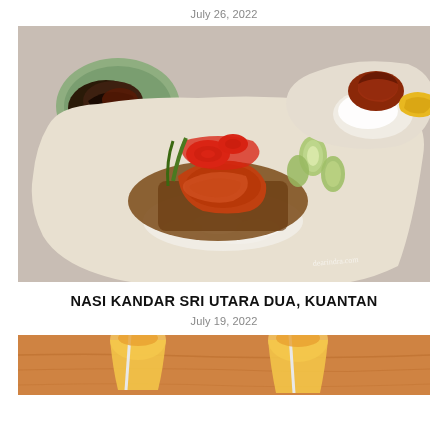July 26, 2022
[Figure (photo): Overhead photo of nasi kandar meals served on paper wrapping, showing rice topped with fried chicken, curry, squid rings, and vegetables including cucumber slices. Multiple plates visible from above on a table.]
NASI KANDAR SRI UTARA DUA, KUANTAN
July 19, 2022
[Figure (photo): Partial photo showing drinks or desserts with straws on an orange/wooden table surface, partially cut off at bottom of page.]